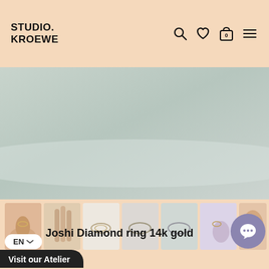STUDIO. KROEWE
[Figure (photo): Large product photo showing a thin gold ring on a light sage/grey-green background]
[Figure (photo): Thumbnail strip showing 7 product photos of the Joshi Diamond ring 14k gold]
EN
Joshi Diamond ring 14k gold
€429,00
Visit our Atelier